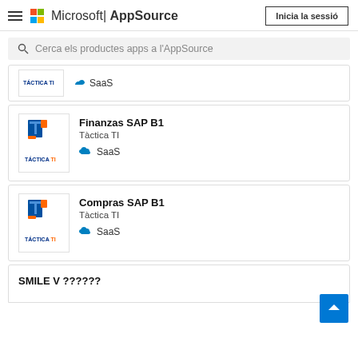Microsoft | AppSource — Inicia la sessió
Cerca els productes apps a l'AppSource
[Figure (logo): Tàctica TI logo (partial/cut off at top) with SaaS label]
[Figure (logo): Tàctica TI logo with product listing: Finanzas SAP B1, Tàctica TI, SaaS]
[Figure (logo): Tàctica TI logo with product listing: Compras SAP B1, Tàctica TI, SaaS]
SMILE V ??????